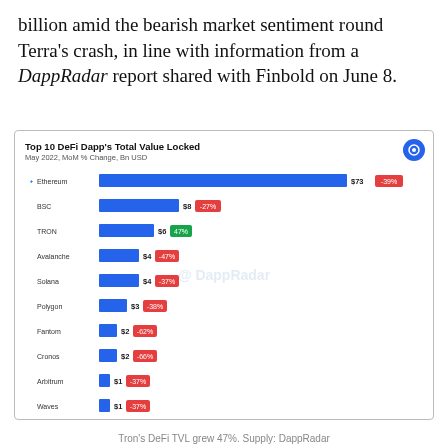billion amid the bearish market sentiment round Terra's crash, in line with information from a DappRadar report shared with Finbold on June 8.
[Figure (bar-chart): Top 10 DeFi Dapp's Total Value Locked]
Tron's DeFi TVL grew 47%. Supply: DappRadar